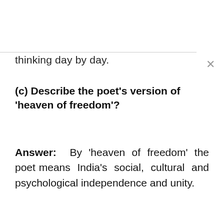thinking day by day.
(c) Describe the poet’s version of ‘heaven of freedom’?
Answer: By ‘heaven of freedom’ the poet means India’s social, cultural and psychological independence and unity.